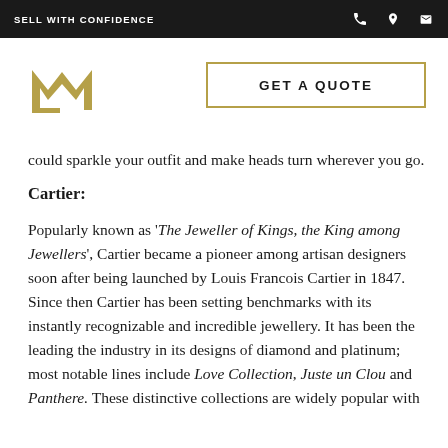SELL WITH CONFIDENCE
[Figure (logo): M logo mark in gold/tan color]
GET A QUOTE
could sparkle your outfit and make heads turn wherever you go.
Cartier:
Popularly known as ‘The Jeweller of Kings, the King among Jewellers’, Cartier became a pioneer among artisan designers soon after being launched by Louis Francois Cartier in 1847. Since then Cartier has been setting benchmarks with its instantly recognizable and incredible jewellery. It has been the leading the industry in its designs of diamond and platinum; most notable lines include Love Collection, Juste un Clou and Panthere. These distinctive collections are widely popular with